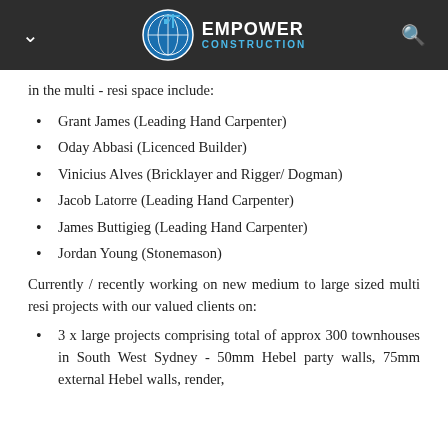Empower Construction
in the multi - resi space include:
Grant James (Leading Hand Carpenter)
Oday Abbasi (Licenced Builder)
Vinicius Alves (Bricklayer and Rigger/ Dogman)
Jacob Latorre (Leading Hand Carpenter)
James Buttigieg (Leading Hand Carpenter)
Jordan Young (Stonemason)
Currently / recently working on new medium to large sized multi resi projects with our valued clients on:
3 x large projects comprising total of approx 300 townhouses in South West Sydney - 50mm Hebel party walls, 75mm external Hebel walls, render,